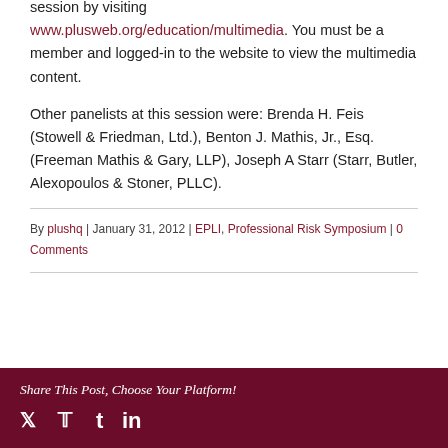session by visiting www.plusweb.org/education/multimedia. You must be a member and logged-in to the website to view the multimedia content.
Other panelists at this session were: Brenda H. Feis (Stowell & Friedman, Ltd.), Benton J. Mathis, Jr., Esq. (Freeman Mathis & Gary, LLP), Joseph A Starr (Starr, Butler, Alexopoulos & Stoner, PLLC).
By plushq | January 31, 2012 | EPLI, Professional Risk Symposium | 0 Comments
Share This Post, Choose Your Platform!